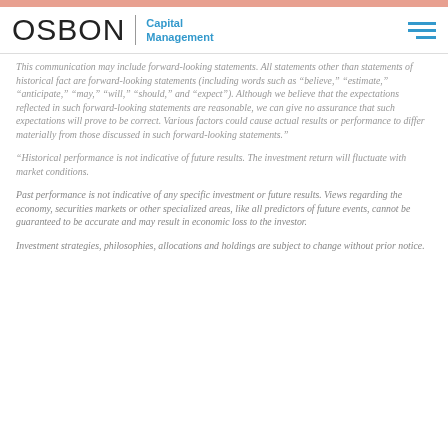OSBON | Capital Management
This communication may include forward-looking statements. All statements other than statements of historical fact are forward-looking statements (including words such as “believe,” “estimate,” “anticipate,” “may,” “will,” “should,” and “expect”). Although we believe that the expectations reflected in such forward-looking statements are reasonable, we can give no assurance that such expectations will prove to be correct. Various factors could cause actual results or performance to differ materially from those discussed in such forward-looking statements."
“Historical performance is not indicative of future results. The investment return will fluctuate with market conditions.
Past performance is not indicative of any specific investment or future results. Views regarding the economy, securities markets or other specialized areas, like all predictors of future events, cannot be guaranteed to be accurate and may result in economic loss to the investor.
Investment strategies, philosophies, allocations and holdings are subject to change without prior notice.